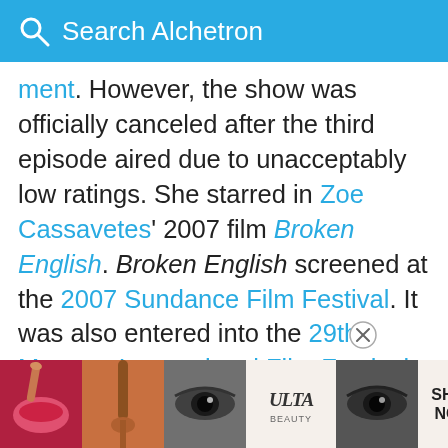Search Alchetron
ment. However, the show was officially canceled after the third episode aired due to unacceptably low ratings. She starred in Zoe Cassavetes' 2007 film Broken English. Broken English screened at the 2007 Sundance Film Festival. It was also entered into the 29th Moscow International Film Festival. The film was nominated at the 23rd Independent Spirit Awards for Best First Screenplay and Posey was nominated for Best Female Lead. She was set to co-star in John Waters' film Fruitcake with Johnny Knoxville. The film was to be set in her hometown of Baltimore, Maryland. However, Waters saying
[Figure (screenshot): Advertisement banner with makeup/beauty images and ULTA branding, SHOP NOW button, and id-19 label]